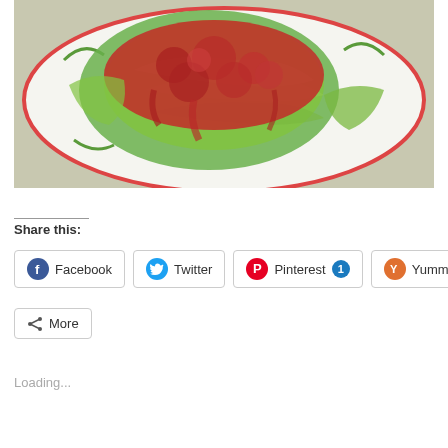[Figure (photo): Cabbage rolls topped with red tomato sauce on a decorative plate with green and red rim design]
Share this:
Facebook
Twitter
Pinterest 1
Yummly
More
Loading...